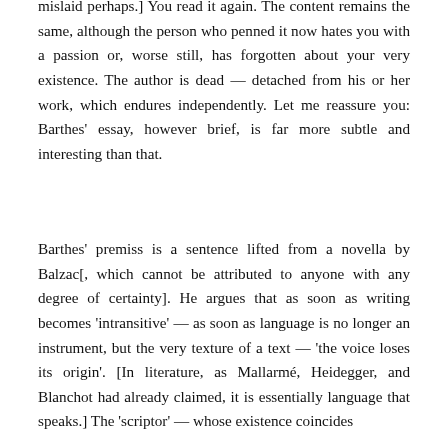mislaid perhaps.] You read it again. The content remains the same, although the person who penned it now hates you with a passion or, worse still, has forgotten about your very existence. The author is dead — detached from his or her work, which endures independently. Let me reassure you: Barthes' essay, however brief, is far more subtle and interesting than that.
Barthes' premiss is a sentence lifted from a novella by Balzac[, which cannot be attributed to anyone with any degree of certainty]. He argues that as soon as writing becomes 'intransitive' — as soon as language is no longer an instrument, but the very texture of a text — 'the voice loses its origin'. [In literature, as Mallarmé, Heidegger, and Blanchot had already claimed, it is essentially language that speaks.] The 'scriptor' — whose existence coincides